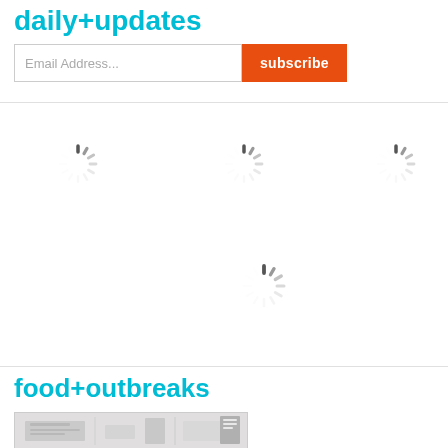daily+updates
[Figure (screenshot): Email subscription form with text input 'Email Address...' and orange 'subscribe' button]
[Figure (other): Loading spinners (circular loading indicators) arranged in a grid pattern - three in top row and one in middle area]
food+outbreaks
[Figure (photo): Preview thumbnail image showing a map or document related to food outbreaks]